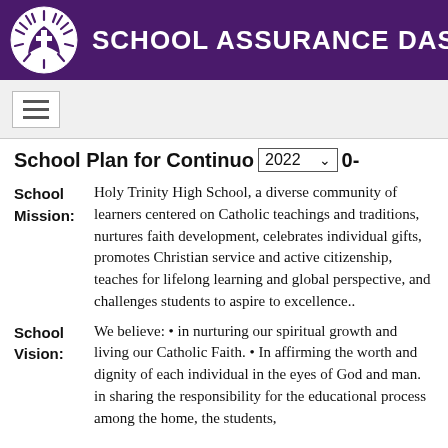SCHOOL ASSURANCE DASHBOARD
School Plan for Continuous Improvement 2022 0-
School Mission: Holy Trinity High School, a diverse community of learners centered on Catholic teachings and traditions, nurtures faith development, celebrates individual gifts, promotes Christian service and active citizenship, teaches for lifelong learning and global perspective, and challenges students to aspire to excellence..
School Vision: We believe: • in nurturing our spiritual growth and living our Catholic Faith. • In affirming the worth and dignity of each individual in the eyes of God and man. in sharing the responsibility for the educational process among the home, the students,